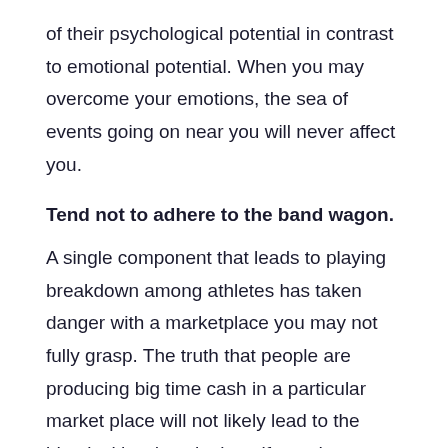of their psychological potential in contrast to emotional potential. When you may overcome your emotions, the sea of events going on near you will never affect you.
Tend not to adhere to the band wagon.
A single component that leads to playing breakdown among athletes has taken danger with a marketplace you may not fully grasp. The truth that people are producing big time cash in a particular market place will not likely lead to the identical hard work along if you do not have the stats at your finger tips. Our guidance is that you simply must not adhere to the band wagon. Place your guess out there you realize much like the bands of your respective band.